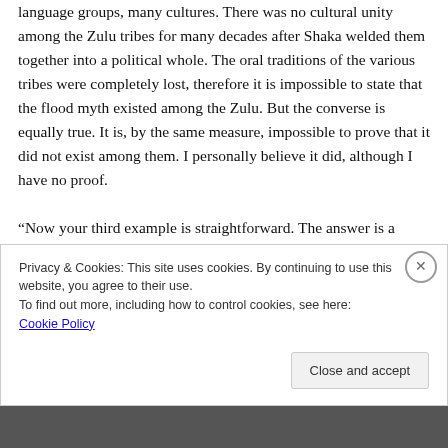language groups, many cultures. There was no cultural unity among the Zulu tribes for many decades after Shaka welded them together into a political whole. The oral traditions of the various tribes were completely lost, therefore it is impossible to state that the flood myth existed among the Zulu. But the converse is equally true. It is, by the same measure, impossible to prove that it did not exist among them. I personally believe it did, although I have no proof.

“Now your third example is straightforward. The answer is a simple, unqualified yes. We have hundreds of texts to
Privacy & Cookies: This site uses cookies. By continuing to use this website, you agree to their use.
To find out more, including how to control cookies, see here: Cookie Policy